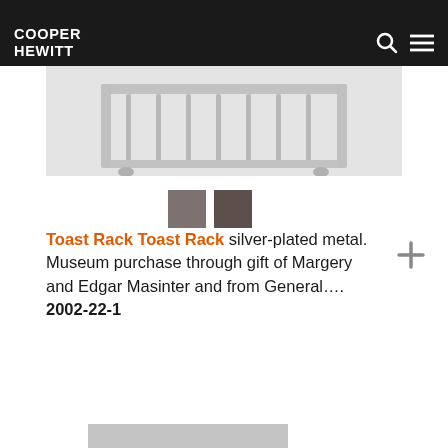COOPER HEWITT
[Figure (photo): Partial view of a silver toast rack with horizontal bar and decorative legs on a light grey background]
[Figure (other): Two color swatches: muted mauve-grey and darker brown-grey]
Toast Rack Toast Rack silver-plated metal. Museum purchase through gift of Margery and Edgar Masinter and from General.... 2002-22-1
[Figure (other): Bottom partial image strip in grey]
[Figure (other): Plus (+) icon in grey]